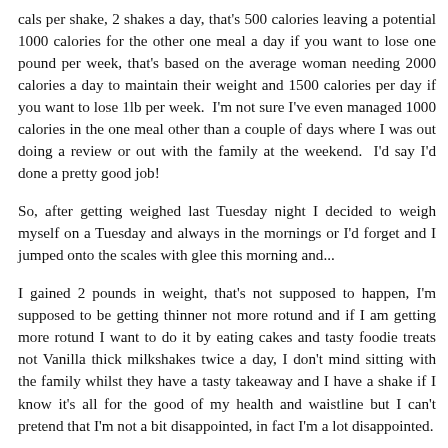cals per shake, 2 shakes a day, that's 500 calories leaving a potential 1000 calories for the other one meal a day if you want to lose one pound per week, that's based on the average woman needing 2000 calories a day to maintain their weight and 1500 calories per day if you want to lose 1lb per week. I'm not sure I've even managed 1000 calories in the one meal other than a couple of days where I was out doing a review or out with the family at the weekend. I'd say I'd done a pretty good job!
So, after getting weighed last Tuesday night I decided to weigh myself on a Tuesday and always in the mornings or I'd forget and I jumped onto the scales with glee this morning and...
I gained 2 pounds in weight, that's not supposed to happen, I'm supposed to be getting thinner not more rotund and if I am getting more rotund I want to do it by eating cakes and tasty foodie treats not Vanilla thick milkshakes twice a day, I don't mind sitting with the family whilst they have a tasty takeaway and I have a shake if I know it's all for the good of my health and waistline but I can't pretend that I'm not a bit disappointed, in fact I'm a lot disappointed.